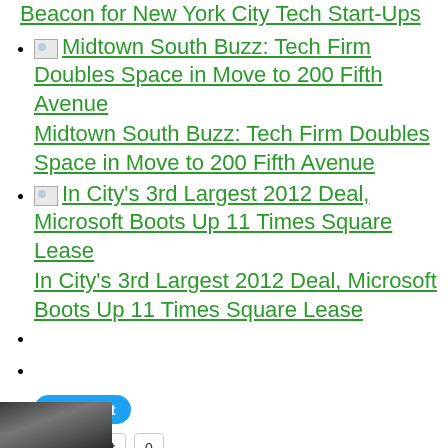Beacon for New York City Tech Start-Ups
Midtown South Buzz: Tech Firm Doubles Space in Move to 200 Fifth Avenue
In City's 3rd Largest 2012 Deal, Microsoft Boots Up 11 Times Square Lease
[Tweet button]
[Pocket button, count: 0]
[Figure (photo): Photo thumbnail at bottom left]